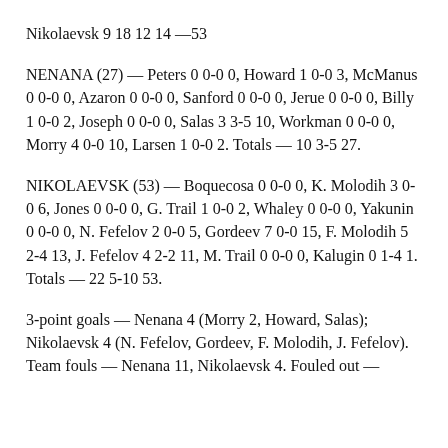Nikolaevsk 9 18 12 14 —53
NENANA (27) — Peters 0 0-0 0, Howard 1 0-0 3, McManus 0 0-0 0, Azaron 0 0-0 0, Sanford 0 0-0 0, Jerue 0 0-0 0, Billy 1 0-0 2, Joseph 0 0-0 0, Salas 3 3-5 10, Workman 0 0-0 0, Morry 4 0-0 10, Larsen 1 0-0 2. Totals — 10 3-5 27.
NIKOLAEVSK (53) — Boquecosa 0 0-0 0, K. Molodih 3 0-0 6, Jones 0 0-0 0, G. Trail 1 0-0 2, Whaley 0 0-0 0, Yakunin 0 0-0 0, N. Fefelov 2 0-0 5, Gordeev 7 0-0 15, F. Molodih 5 2-4 13, J. Fefelov 4 2-2 11, M. Trail 0 0-0 0, Kalugin 0 1-4 1. Totals — 22 5-10 53.
3-point goals — Nenana 4 (Morry 2, Howard, Salas); Nikolaevsk 4 (N. Fefelov, Gordeev, F. Molodih, J. Fefelov). Team fouls — Nenana 11, Nikolaevsk 4. Fouled out —